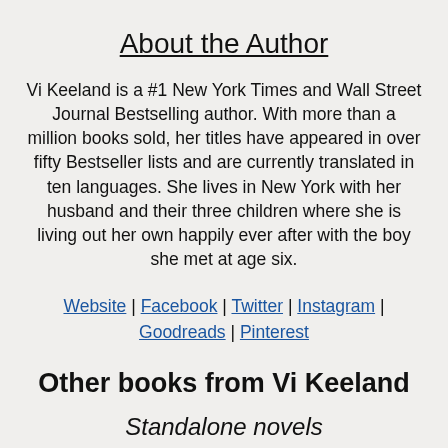About the Author
Vi Keeland is a #1 New York Times and Wall Street Journal Bestselling author. With more than a million books sold, her titles have appeared in over fifty Bestseller lists and are currently translated in ten languages. She lives in New York with her husband and their three children where she is living out her own happily ever after with the boy she met at age six.
Website | Facebook | Twitter | Instagram | Goodreads | Pinterest
Other books from Vi Keeland
Standalone novels
Bossman